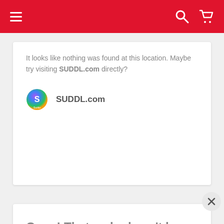Navigation bar with hamburger menu, search icon, and cart icon
It looks like nothing was found at this location. Maybe try visiting SUDDL.com directly?
[Figure (logo): SUDDL.com site logo - colorful sphere icon with text SUDDL.com]
Oops! That embed can't be found.
It looks like nothing was found at this location. Maybe try visiting SUDDL.com directly?
[Figure (logo): SUDDL.com site logo - colorful sphere icon with text SUDDL.com]